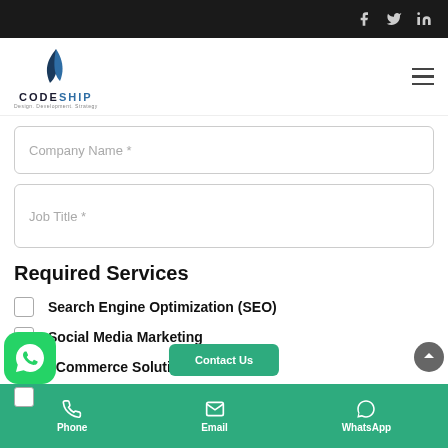CODESHIP — website navigation header with social icons (Facebook, Twitter, LinkedIn) and hamburger menu
Company Name *
Job Title *
Required Services
Search Engine Optimization (SEO)
Social Media Marketing
eCommerce Solutions
Website Design & De…
Phone | Email | WhatsApp